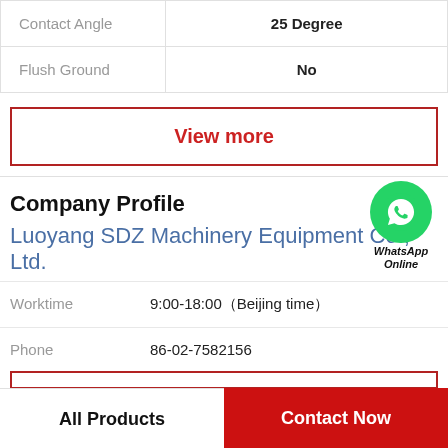| Property | Value |
| --- | --- |
| Contact Angle | 25 Degree |
| Flush Ground | No |
View more
Company Profile
Luoyang SDZ Machinery Equipment Co., Ltd.
[Figure (logo): WhatsApp green phone icon with label 'WhatsApp Online']
Worktime  9:00-18:00（Beijing time）
Phone  86-02-7582156
All Products    Contact Now